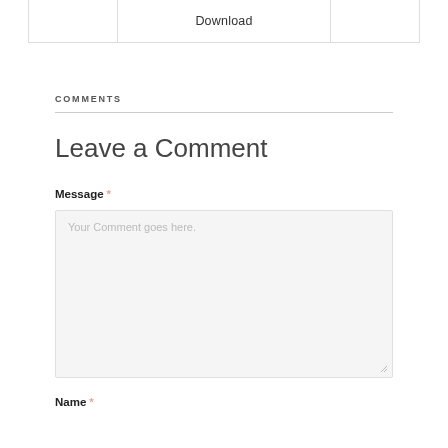|  | Download |  |
| --- | --- | --- |
COMMENTS
Leave a Comment
Message *
Your Comment goes here.
Name *